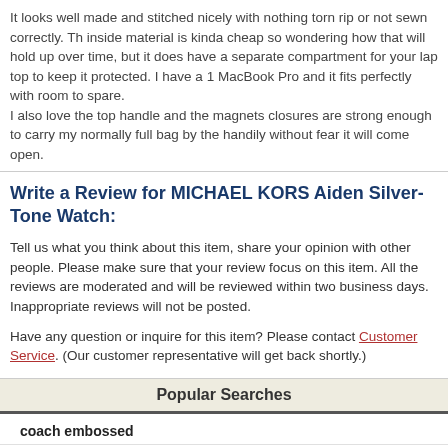It looks well made and stitched nicely with nothing torn rip or not sewn correctly. The inside material is kinda cheap so wondering how that will hold up over time, but it does have a separate compartment for your lap top to keep it protected. I have a 15 MacBook Pro and it fits perfectly with room to spare.
I also love the top handle and the magnets closures are strong enough to carry my normally full bag by the handily without fear it will come open.
Write a Review for MICHAEL KORS Aiden Silver-Tone Watch:
Tell us what you think about this item, share your opinion with other people. Please make sure that your review focus on this item. All the reviews are moderated and will be reviewed within two business days. Inappropriate reviews will not be posted.
Have any question or inquire for this item? Please contact Customer Service. (Our customer representative will get back shortly.)
Popular Searches
coach embossed
necklace
coach necklace
rose gold
coach
dakotah